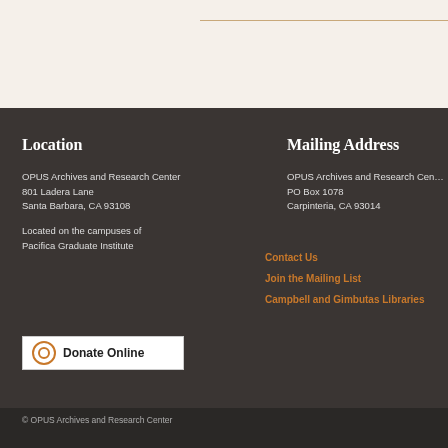Location
OPUS Archives and Research Center
801 Ladera Lane
Santa Barbara, CA 93108
Located on the campuses of Pacifica Graduate Institute
[Figure (logo): Donate Online button with circular logo icon]
Mailing Address
OPUS Archives and Research Center
PO Box 1078
Carpinteria, CA 93014
Contact Us
Join the Mailing List
Campbell and Gimbutas Libraries
© OPUS Archives and Research Center